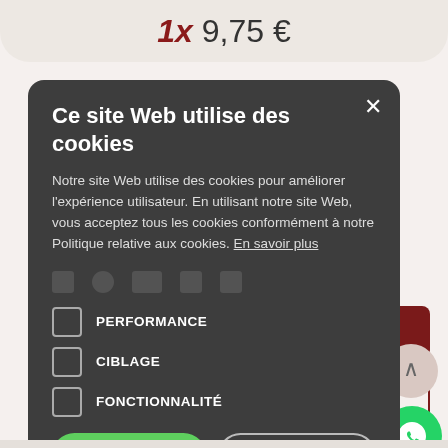1x 9,75 €
[Figure (screenshot): Cookie consent modal overlay on an e-commerce website. Modal has dark grey background with title 'Ce site Web utilise des cookies', body text explaining cookie usage, three unchecked checkboxes for PERFORMANCE, CIBLAGE, FONCTIONNALITE, an 'ACCEPTER TOUT' green button, 'REFUSER TOUT' outlined button, and 'AFFICHER LES DETAILS' link. Behind the modal is partially visible page content including a price '1x 9,75 €', add to cart button, wishlist button, and questions text. A WhatsApp chat button and scroll-up button are visible in the bottom right.]